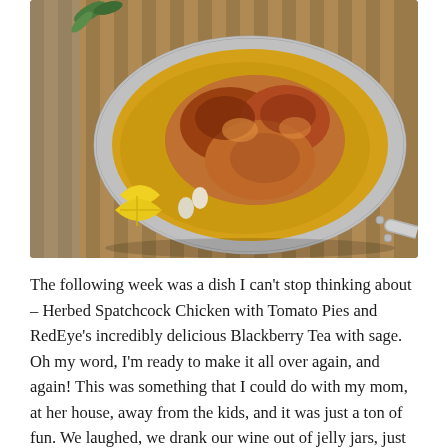[Figure (photo): Overhead photo of a spatchcocked roasted chicken in a stainless steel pan, with golden buttery juices, lemon wedges, and fresh herbs on a wooden cutting board.]
The following week was a dish I can't stop thinking about – Herbed Spatchcock Chicken with Tomato Pies and RedEye's incredibly delicious Blackberry Tea with sage. Oh my word, I'm ready to make it all over again, and again! This was something that I could do with my mom, at her house, away from the kids, and it was just a ton of fun. We laughed, we drank our wine out of jelly jars, just like Chef Nikki, and enjoyed one of the best meals I've ever had, a full on restaurant chef quality meal (because she is an executive